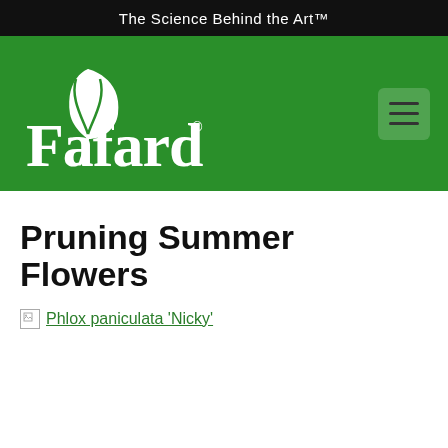The Science Behind the Art™
[Figure (logo): Fafard logo with leaf icon on green background, plus hamburger menu button]
Pruning Summer Flowers
[Figure (photo): Broken image placeholder linking to Phlox paniculata 'Nicky']